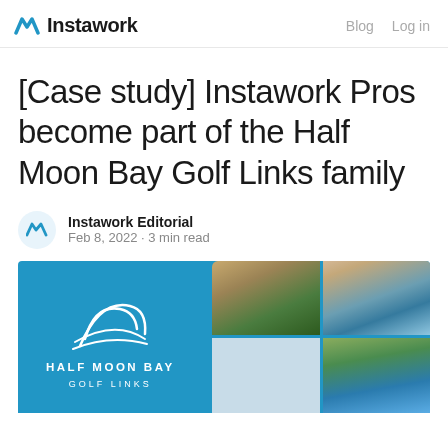Instawork — Blog  Log in
[Case study] Instawork Pros become part of the Half Moon Bay Golf Links family
Instawork Editorial
Feb 8, 2022 · 3 min read
[Figure (photo): Half Moon Bay Golf Links promotional banner with logo on blue background and photo collage of golf course and coastal cliffs]